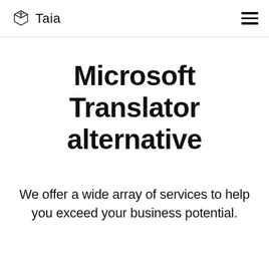Taia
Microsoft Translator alternative
We offer a wide array of services to help you exceed your business potential.